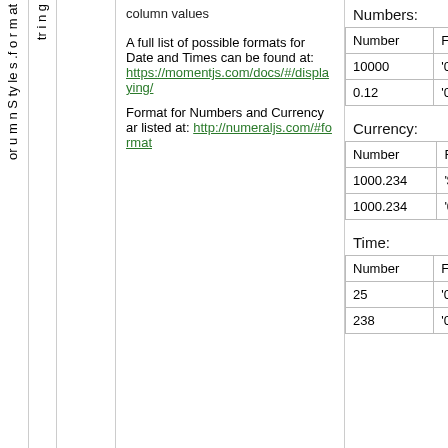column values
A full list of possible formats for Date and Times can be found at: https://momentjs.com/docs/#/displaying/
Format for Numbers and Currency are listed at: http://numeraljs.com/#format
Numbers:
| Number | F |
| --- | --- |
| 10000 | '0 |
| 0.12 | '0 |
Currency:
| Number | F |
| --- | --- |
| 1000.234 | '$ |
| 1000.234 | '0 |
Time:
| Number | F |
| --- | --- |
| 25 | '0 |
| 238 | '0 |